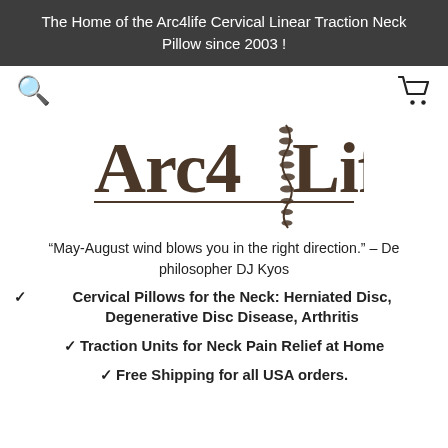The Home of the Arc4life Cervical Linear Traction Neck Pillow since 2003 !
[Figure (logo): Arc4Life logo with stylized spine graphic between '4' and 'Life', dark brown serif text, horizontal rule beneath]
“May-August wind blows you in the right direction.” – De philosopher DJ Kyos
Cervical Pillows for the Neck: Herniated Disc, Degenerative Disc Disease, Arthritis
Traction Units for Neck Pain Relief at Home
Free Shipping for all USA orders.